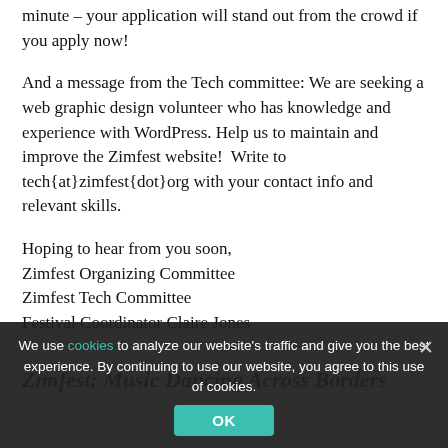minute – your application will stand out from the crowd if you apply now!
And a message from the Tech committee: We are seeking a web graphic design volunteer who has knowledge and experience with WordPress. Help us to maintain and improve the Zimfest website!  Write to tech{at}zimfest{dot}org with your contact info and relevant skills.
Hoping to hear from you soon,
Zimfest Organizing Committee
Zimfest Tech Committee
Festival Coordinator Claire Jones
Zimfest: Music Dancing Across Borders
We use cookies to analyze our website's traffic and give you the best experience. By continuing to use our website, you agree to this use of cookies.